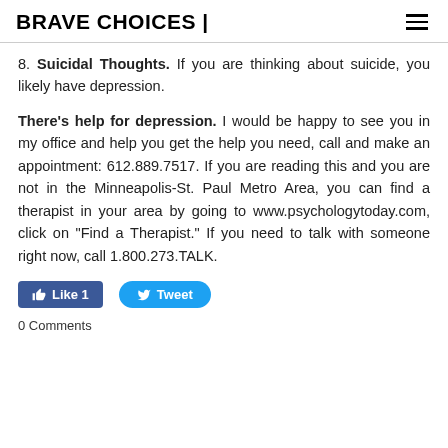BRAVE CHOICES |
8. Suicidal Thoughts. If you are thinking about suicide, you likely have depression.
There's help for depression. I would be happy to see you in my office and help you get the help you need, call and make an appointment: 612.889.7517. If you are reading this and you are not in the Minneapolis-St. Paul Metro Area, you can find a therapist in your area by going to www.psychologytoday.com, click on "Find a Therapist." If you need to talk with someone right now, call 1.800.273.TALK.
Like 1   Tweet
0 Comments